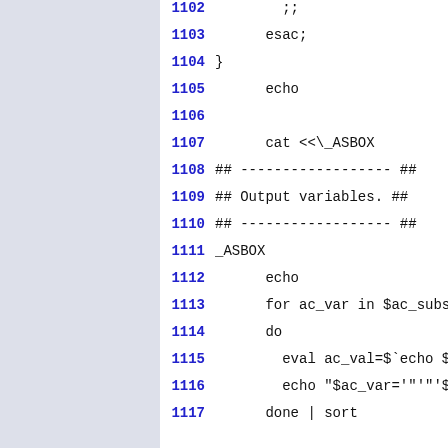[Figure (screenshot): Source code listing showing shell script lines 1102–1117 with line numbers in bold blue and code in monospace. Lines include: ;; esac; } echo cat <<\_ASBOX ## ------------------ ## ## Output variables. ## ## ------------------ ## _ASBOX echo for ac_var in $ac_subst_v do eval ac_val=$`echo $ac echo "$ac_var='"'"'$ac done | sort]